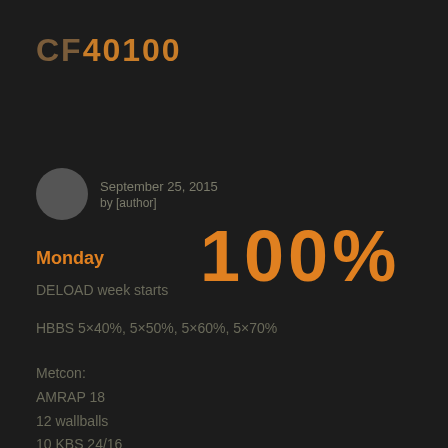CF40100
September 25, 2015
by [author]
Monday
100%
DELOAD week starts
HBBS 5×40%, 5×50%, 5×60%, 5×70%
Metcon:
AMRAP 18
12 wallballs
10 KBS 24/16